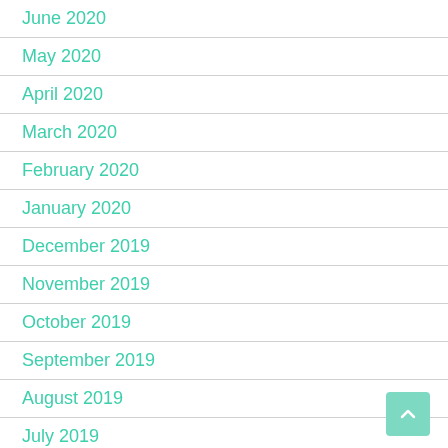June 2020
May 2020
April 2020
March 2020
February 2020
January 2020
December 2019
November 2019
October 2019
September 2019
August 2019
July 2019
June 2019